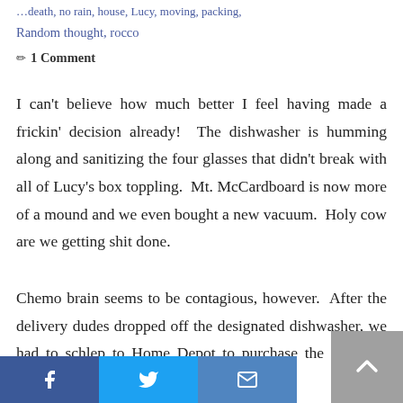…death, no rain, house, Lucy, moving, packing,
Random thought, rocco
✏ 1 Comment
I can't believe how much better I feel having made a frickin' decision already!  The dishwasher is humming along and sanitizing the four glasses that didn't break with all of Lucy's box toppling.  Mt. McCardboard is now more of a mound and we even bought a new vacuum.  Holy cow are we getting shit done.
Chemo brain seems to be contagious, however.  After the delivery dudes dropped off the designated dishwasher, we had to schlep to Home Depot to purchase the parts we needed to actually make th…  Of course,